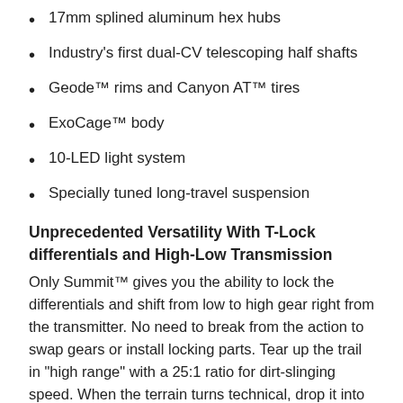17mm splined aluminum hex hubs
Industry's first dual-CV telescoping half shafts
Geode™ rims and Canyon AT™ tires
ExoCage™ body
10-LED light system
Specially tuned long-travel suspension
Unprecedented Versatility With T-Lock differentials and High-Low Transmission
Only Summit™ gives you the ability to lock the differentials and shift from low to high gear right from the transmitter. No need to break from the action to swap gears or install locking parts. Tear up the trail in "high range" with a 25:1 ratio for dirt-slinging speed. When the terrain turns technical, drop it into "low range" for a 70:1 ratio and unreal climbing torque. For the ultimate in climbing traction, flip the T-Lock switch to lock the front differential. Need even more grip?